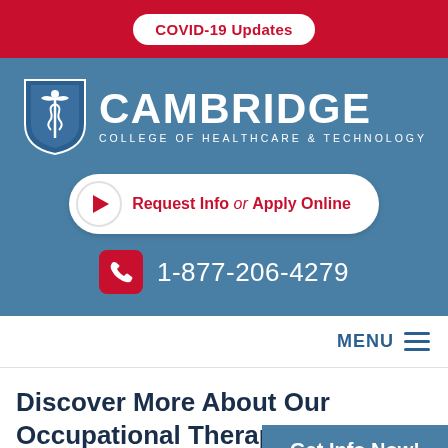COVID-19 Updates
[Figure (logo): Cambridge College of Healthcare & Technology shield logo with caduceus]
CAMBRIDGE
COLLEGE OF HEALTHCARE & TECHNOLOGY
Request Info or Apply Online
1-877-206-4279
MENU
Discover More About Our Occupational Therapy Assistant
Get Info Now!